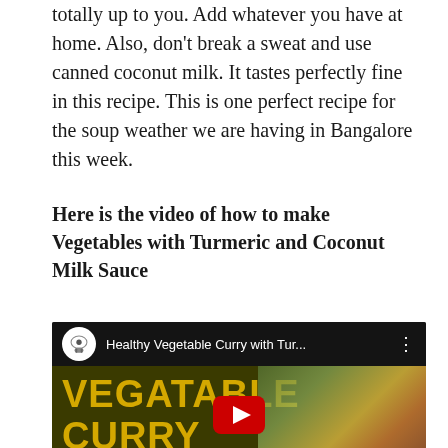totally up to you. Add whatever you have at home. Also, don't break a sweat and use canned coconut milk. It tastes perfectly fine in this recipe. This is one perfect recipe for the soup weather we are having in Bangalore this week.
Here is the video of how to make Vegetables with Turmeric and Coconut Milk Sauce
[Figure (screenshot): YouTube video thumbnail showing 'Healthy Vegetable Curry with Tur...' with channel icon, video title bar, and thumbnail of vegetable curry with text 'VEGATABLE CURRY' overlay and YouTube play button]